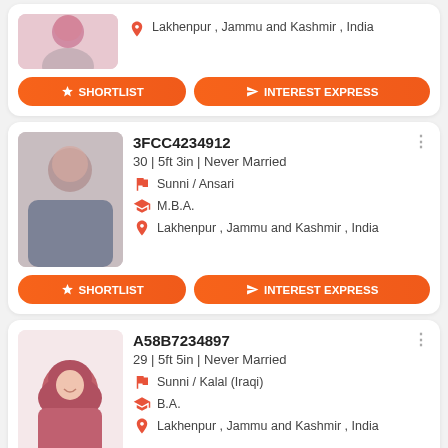[Figure (illustration): Partial card at top showing blurred female profile photo, location text 'Lakhenpur , Jammu and Kashmir , India', and two action buttons SHORTLIST and INTEREST EXPRESS]
Lakhenpur , Jammu and Kashmir , India
[Figure (illustration): Profile card for 3FCC4234912 showing blurred photo of woman]
3FCC4234912
30 | 5ft 3in | Never Married
Sunni / Ansari
M.B.A.
Lakhenpur , Jammu and Kashmir , India
A58B7234897
29 | 5ft 5in | Never Married
Sunni / Kalal (Iraqi)
B.A.
Lakhenpur , Jammu and Kashmir , India